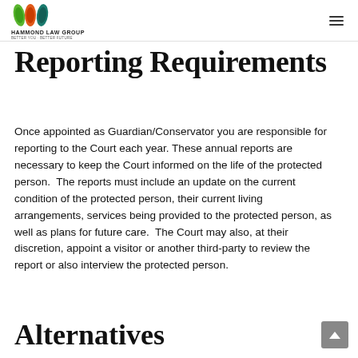Hammond Law Group
Reporting Requirements
Once appointed as Guardian/Conservator you are responsible for reporting to the Court each year. These annual reports are necessary to keep the Court informed on the life of the protected person.  The reports must include an update on the current condition of the protected person, their current living arrangements, services being provided to the protected person, as well as plans for future care.  The Court may also, at their discretion, appoint a visitor or another third-party to review the report or also interview the protected person.
Alternatives